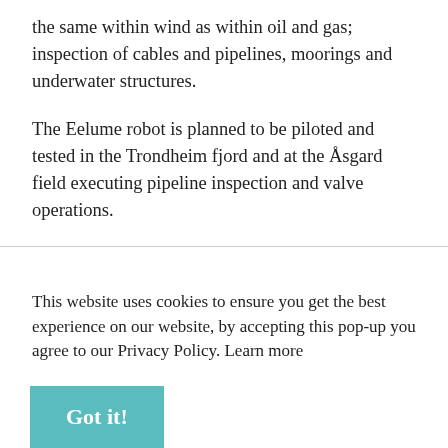the same within wind as within oil and gas; inspection of cables and pipelines, moorings and underwater structures.
The Eelume robot is planned to be piloted and tested in the Trondheim fjord and at the Åsgard field executing pipeline inspection and valve operations.
This website uses cookies to ensure you get the best experience on our website, by accepting this pop-up you agree to our Privacy Policy. Learn more
Got it!